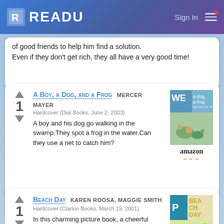READU  Sign In
of good friends to help him find a solution. Even if they don't get rich, they all have a very good time!
A BOY, A DOG, AND A FROG  MERCER MAYER
Hardcover (Dial Books, June 2, 2003)
A boy and his dog go walking in the swamp.They spot a frog in the water.Can they use a net to catch him?
BEACH DAY  KAREN ROOSA, MAGGIE SMITH
Hardcover (Clarion Books, March 19, 2001)
In this charming picture book, a cheerful family tumbles out of the car and onto the beach, ready for a perfect day. Buoyant verse just right for reading aloud and bright.